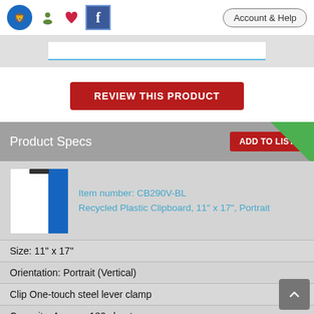Account & Help
[Figure (screenshot): Website navigation bar with lion logo, person icon, heart icon, Facebook icon, and Account & Help button]
[Figure (screenshot): Search bar input area]
REVIEW THIS PRODUCT
Product Specs
[Figure (photo): Blue recycled plastic clipboard product thumbnail image]
Item number: CB290V-BL
Recycled Plastic Clipboard, 11" x 17", Portrait
Size: 11" x 17"
Orientation: Portrait (Vertical)
Clip One-touch steel lever clamp
Capacity: Approx. 180 sheets
Color: Blue
Overall Dimension 11.83"W x 18.67"H
Material: 96.8% post consumer recycled plastic PET bottles
Made in: Japan (TAA designated)
Unit Each
QTY per Box: 10ea